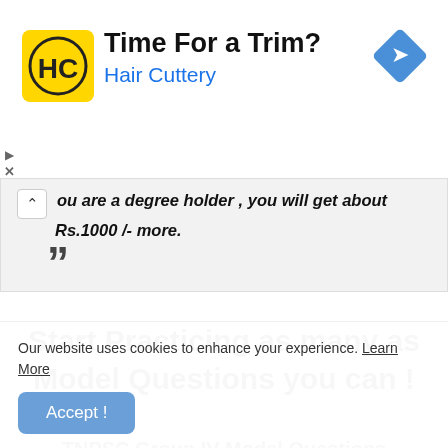[Figure (logo): Hair Cuttery advertisement banner with yellow HC logo, text 'Time For a Trim?' and 'Hair Cuttery', and a blue diamond navigation arrow icon]
ou are a degree holder , you will get about Rs.1000 /- more.
Start Practicing as many as Model Questions you can !
TNPSC Group IV Model Questions
Our website uses cookies to enhance your experience. Learn More
Accept !